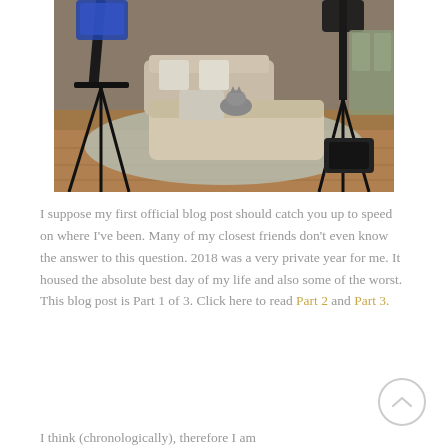[Figure (photo): Indoor photo of a living room set with studio lighting equipment (tripods and lights) on either side of a chaise lounge/daybed. A cat sits on the daybed. The room has hardwood floors, a rug, and a couch visible in the background.]
I suppose my first official blog post should catch you up to speed on where I've been. Many of my closest friends don't even know the answer to this question. 2018 was a very private year for me. It housed the absolute best day of my life and also some of the worst. This blog post is Part 1 of 3. Click here to read Part 2 and Part 3.
I think (chronologically), therefore I am